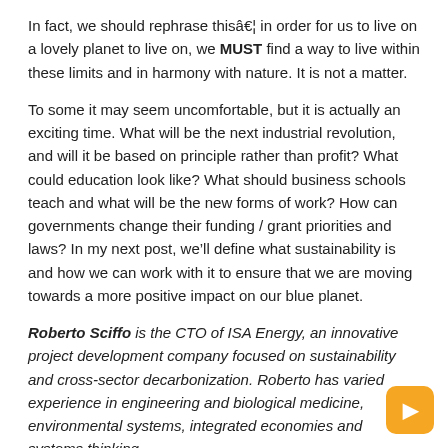In fact, we should rephrase thisâ€¦ in order for us to live on a lovely planet to live on, we MUST find a way to live within these limits and in harmony with nature. It is not a matter.
To some it may seem uncomfortable, but it is actually an exciting time. What will be the next industrial revolution, and will it be based on principle rather than profit? What could education look like? What should business schools teach and what will be the new forms of work? How can governments change their funding / grant priorities and laws? In my next post, we’ll define what sustainability is and how we can work with it to ensure that we are moving towards a more positive impact on our blue planet.
Roberto Sciffo is the CTO of ISA Energy, an innovative project development company focused on sustainability and cross-sector decarbonization. Roberto has varied experience in engineering and biological medicine, environmental systems, integrated economies and systems thinking.
Related Posts:
1. The African continent is slowly splitting in two